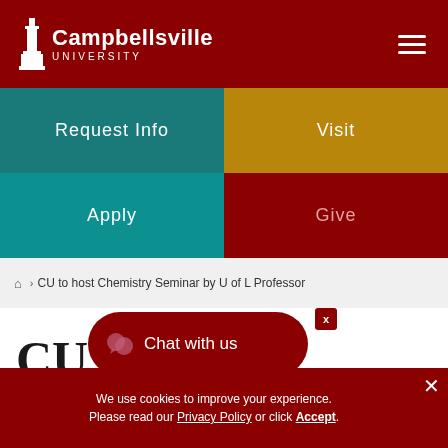[Figure (logo): Campbellsville University logo with tower icon on dark red background]
Request Info
Visit
Apply
Give
🏠 › CU to host Chemistry Seminar by U of L Professor
CU to host Chemistry Seminar by U of L
Chat with us
We use cookies to improve your experience. Please read our Privacy Policy or click Accept.